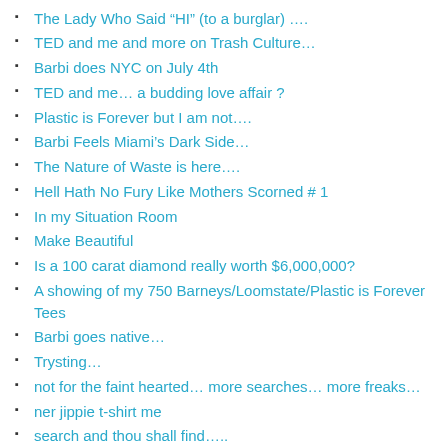The Lady Who Said “HI” (to a burglar) ….
TED and me and more on Trash Culture…
Barbi does NYC on July 4th
TED and me… a budding love affair ?
Plastic is Forever but I am not….
Barbi Feels Miami’s Dark Side…
The Nature of Waste is here….
Hell Hath No Fury Like Mothers Scorned # 1
In my Situation Room
Make Beautiful
Is a 100 carat diamond really worth $6,000,000?
A showing of my 750 Barneys/Loomstate/Plastic is Forever Tees
Barbi goes native…
Trysting…
not for the faint hearted… more searches… more freaks…
ner jippie t-shirt me
search and thou shall find…..
Stattered…